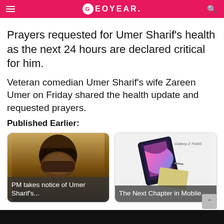GEO YEAR
Prayers requested for Umer Sharif’s health as the next 24 hours are declared critical for him.
Veteran comedian Umer Sharif’s wife Zareen Umer on Friday shared the health update and requested prayers.
Published Earlier:
[Figure (photo): Thumbnail of a man wearing a black cap and mask, with overlay text: PM takes notice of Umer Sharif’s...]
[Figure (photo): Thumbnail of Samsung Galaxy Z Fold3 phone with text overlay: The Next Chapter in Mobile... and label: Galaxy Z Fold3]